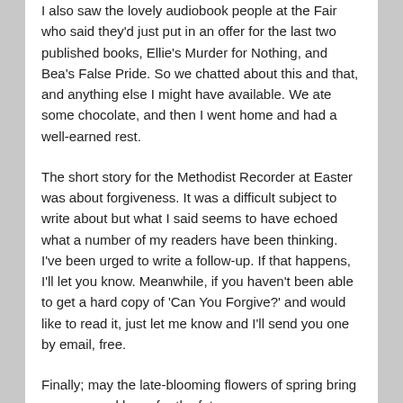I also saw the lovely audiobook people at the Fair who said they'd just put in an offer for the last two published books, Ellie's Murder for Nothing, and Bea's False Pride. So we chatted about this and that, and anything else I might have available. We ate some chocolate, and then I went home and had a well-earned rest.
The short story for the Methodist Recorder at Easter was about forgiveness. It was a difficult subject to write about but what I said seems to have echoed what a number of my readers have been thinking. I've been urged to write a follow-up. If that happens, I'll let you know. Meanwhile, if you haven't been able to get a hard copy of 'Can You Forgive?' and would like to read it, just let me know and I'll send you one by email, free.
Finally; may the late-blooming flowers of spring bring you renewed hope for the future.
Veronica Heley
www.veronicaheley.com